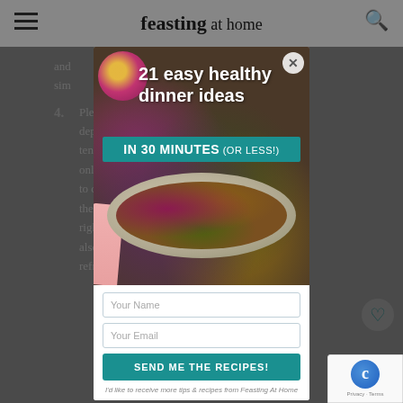feasting at home
and a simple
4. Please more depending on tend will only minutes to c et the until right ould also make this ahead and refrigerate.
[Figure (screenshot): Email signup modal popup for 'Feasting at Home' website showing a bowl of colorful salad with purple cabbage, carrots, herbs and seed-crusted patties held by hands with pink nails. Modal headline: '21 easy healthy dinner ideas IN 30 MINUTES (OR LESS!)' with Your Name and Your Email fields and a teal 'SEND ME THE RECIPES!' button. Disclaimer: 'I'd like to receive more tips & recipes from Feasting At Home']